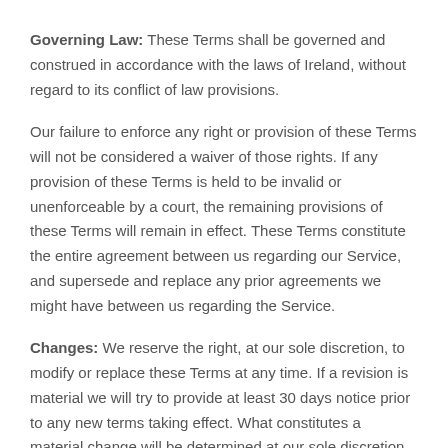Governing Law: These Terms shall be governed and construed in accordance with the laws of Ireland, without regard to its conflict of law provisions.
Our failure to enforce any right or provision of these Terms will not be considered a waiver of those rights. If any provision of these Terms is held to be invalid or unenforceable by a court, the remaining provisions of these Terms will remain in effect. These Terms constitute the entire agreement between us regarding our Service, and supersede and replace any prior agreements we might have between us regarding the Service.
Changes: We reserve the right, at our sole discretion, to modify or replace these Terms at any time. If a revision is material we will try to provide at least 30 days notice prior to any new terms taking effect. What constitutes a material change will be determined at our sole discretion.